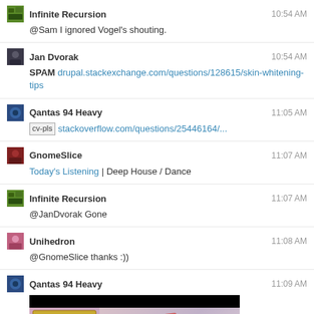Infinite Recursion 10:54 AM
@Sam I ignored Vogel's shouting.
Jan Dvorak 10:54 AM
SPAM drupal.stackexchange.com/questions/128615/skin-whitening-tips
Qantas 94 Heavy 11:05 AM
cv-pls stackoverflow.com/questions/25446164/...
GnomeSlice 11:07 AM
Today's Listening | Deep House / Dance
Infinite Recursion 11:07 AM
@JanDvorak Gone
Unihedron 11:08 AM
@GnomeSlice thanks :))
Qantas 94 Heavy 11:09 AM
[Figure (screenshot): Video thumbnail showing SPAM cans and food items with play button]